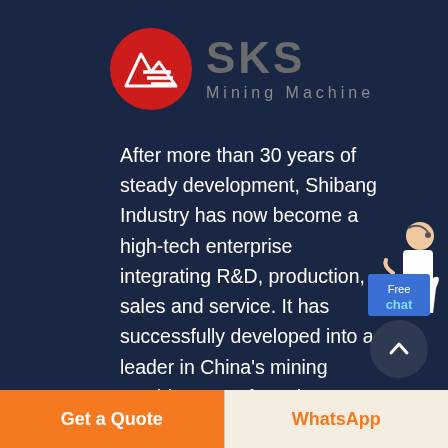[Figure (logo): SKS Mining Machine logo: red circle with white mountain/arrow symbol and horizontal lines, beside bold gray text 'SKS' and subtitle 'Mining Machine']
After more than 30 years of steady development, Shibang Industry has now become a high-tech enterprise integrating R&D, production, sales and service. It has successfully developed into a leader in China's mining machine manufacturing industry and has shined in the international market.
[Figure (illustration): Customer service representative (woman in white jacket) with headset, standing beside a blue 'Free chat' button]
[Figure (other): Dark circular scroll-to-top button with upward chevron arrow]
Get a Quote
WhatsApp